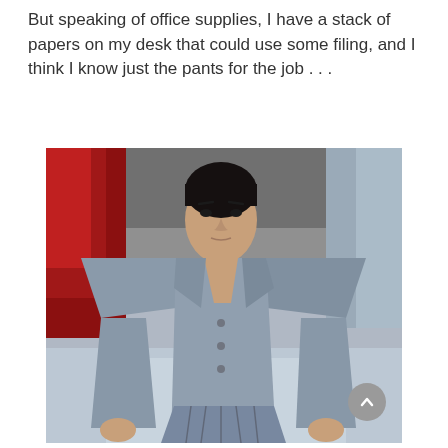But speaking of office supplies, I have a stack of papers on my desk that could use some filing, and I think I know just the pants for the job . . .
[Figure (photo): A male model walking a fashion runway wearing an avant-garde grey structured blazer/jacket with extremely wide boxy padded shoulders and matching pleated grey trousers. Background shows a red curtain on the left and grey-blurred runway.]